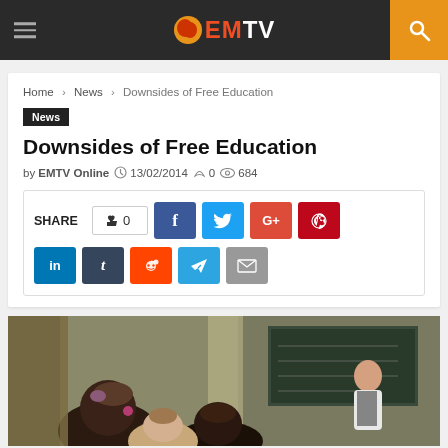EMTV
Home > News > Downsides of Free Education
News
Downsides of Free Education
by EMTV Online  13/02/2014  0  684
[Figure (screenshot): Social share bar with SHARE label, like button showing 0, Facebook, Twitter, Google+, Pinterest, LinkedIn, Tumblr, Reddit, Telegram, Email buttons]
[Figure (photo): Classroom scene with students seated and a female teacher standing at a blackboard]